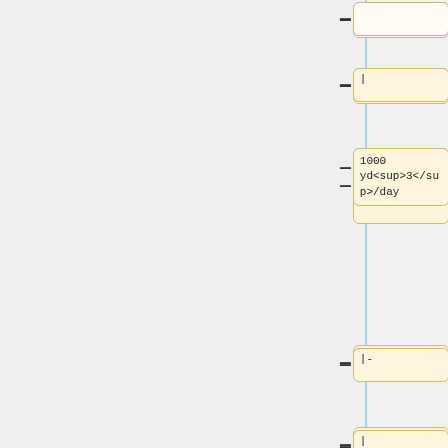[Figure (schematic): Wiki-style table editor interface showing a vertical list of table cells connected by dashes to a blue vertical line. Cells contain: empty, pipe symbol, '1000 yd<sup>3</sup>/day', pipe-dash, pipe, 'Subbase and Selected Subbase (up to 7.4 m)', pipe, empty, pipe, '800 ...' (truncated)]